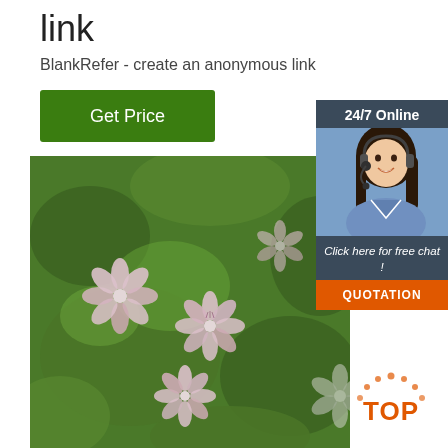link
BlankRefer - create an anonymous link
[Figure (other): Green 'Get Price' button]
[Figure (photo): Close-up photo of pink flowers with green leaves, blurred background]
[Figure (infographic): Chat widget with '24/7 Online' header, smiling woman with headset, 'Click here for free chat!' text, and orange QUOTATION button]
[Figure (logo): TOP badge with orange dots arranged in circle]